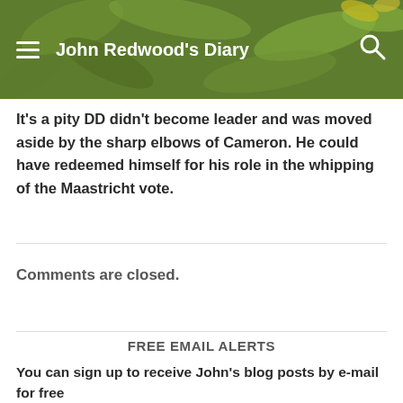John Redwood's Diary
It's a pity DD didn't become leader and was moved aside by the sharp elbows of Cameron. He could have redeemed himself for his role in the whipping of the Maastricht vote.
Comments are closed.
FREE EMAIL ALERTS
You can sign up to receive John's blog posts by e-mail for free